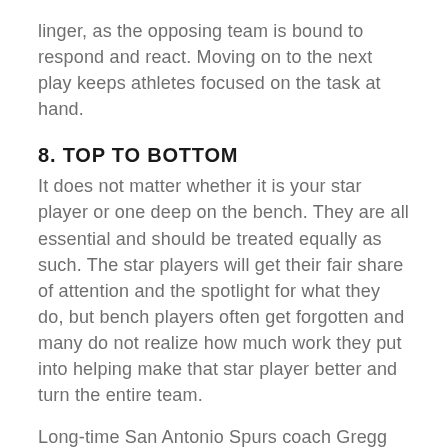linger, as the opposing team is bound to respond and react. Moving on to the next play keeps athletes focused on the task at hand.
8. TOP TO BOTTOM
It does not matter whether it is your star player or one deep on the bench. They are all essential and should be treated equally as such. The star players will get their fair share of attention and the spotlight for what they do, but bench players often get forgotten and many do not realize how much work they put into helping make that star player better and turn the entire team.
Long-time San Antonio Spurs coach Gregg Popovich had no problem getting into the face of his top players like Tim Duncan or Tony Parker, just the same as he did a guy who was getting